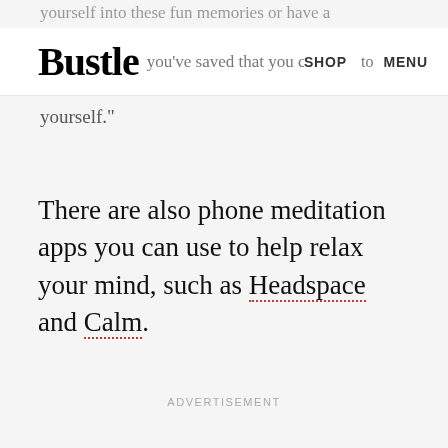yourself into these fun memories or have a
Bustle   you've saved that you can to   SHOP   MENU
yourself."
There are also phone meditation apps you can use to help relax your mind, such as Headspace and Calm.
ADVERTISEMENT